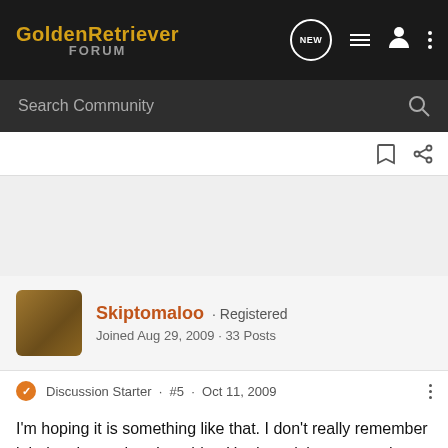GoldenRetriever FORUM
Search Community
Skiptomaloo · Registered
Joined Aug 29, 2009 · 33 Posts
Discussion Starter · #5 · Oct 11, 2009
I'm hoping it is something like that. I don't really remember it being there when I got him. He doesn't have any other spots that I can find either, so who knows. I am going to keep an eye on it and either take him in if it changes or wait until I go in next